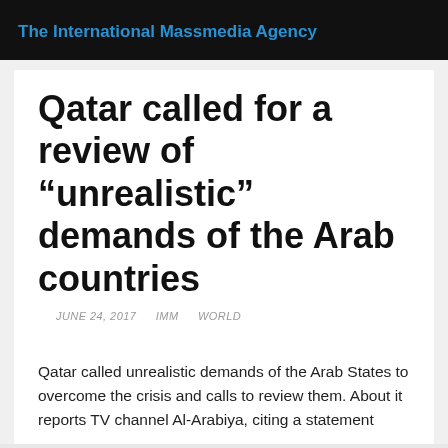The International Massmedia Agency
Qatar called for a review of “unrealistic” demands of the Arab countries
JUNE 24, 2017   IMM   WORLD
Qatar called unrealistic demands of the Arab States to overcome the crisis and calls to review them. About it reports TV channel Al-Arabiya, citing a statement